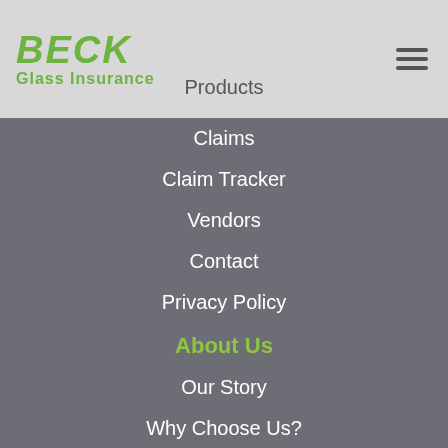[Figure (logo): Beck Glass Insurance logo with green bold italic BECK text and green 'Glass Insurance' subtitle]
Products
Claims
Claim Tracker
Vendors
Contact
Privacy Policy
About Us
Our Story
Why Choose Us?
Testimonials